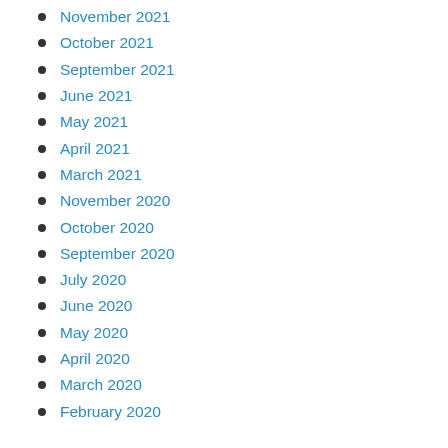November 2021
October 2021
September 2021
June 2021
May 2021
April 2021
March 2021
November 2020
October 2020
September 2020
July 2020
June 2020
May 2020
April 2020
March 2020
February 2020